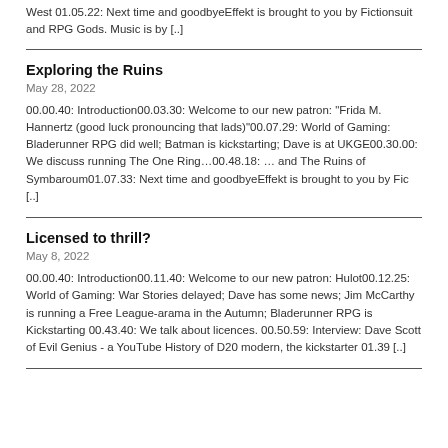West 01.05.22: Next time and goodbyeEffekt is brought to you by Fictionsuit and RPG Gods. Music is by [..]
Exploring the Ruins
May 28, 2022
00.00.40: Introduction00.03.30: Welcome to our new patron: "Frida M. Hannertz (good luck pronouncing that lads)"00.07.29: World of Gaming: Bladerunner RPG did well; Batman is kickstarting; Dave is at UKGE00.30.00: We discuss running The One Ring...00.48.18: … and The Ruins of Symbaroum01.07.33: Next time and goodbyeEffekt is brought to you by Fic [..]
Licensed to thrill?
May 8, 2022
00.00.40: Introduction00.11.40: Welcome to our new patron: Hulot00.12.25: World of Gaming: War Stories delayed; Dave has some news; Jim McCarthy is running a Free League-arama in the Autumn; Bladerunner RPG is Kickstarting 00.43.40: We talk about licences. 00.50.59: Interview: Dave Scott of Evil Genius - a YouTube History of D20 modern, the kickstarter 01.39 [..]